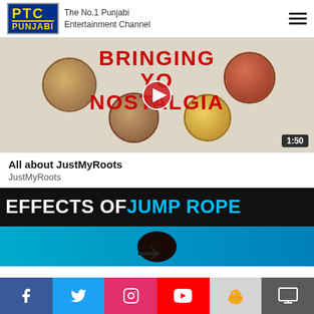[Figure (logo): PTC Punjabi logo with tagline 'The No.1 Punjabi Entertainment Channel' and hamburger menu icon]
[Figure (screenshot): Video thumbnail showing food dishes with text 'BRINGING YO NOSTALGIA' in red, play button overlay, duration badge 1:50]
All about JustMyRoots
JustMyRoots
[Figure (screenshot): Video thumbnail with black background showing 'EFFECTS OF JUMP ROPE' text, person silhouette with jump rope, blue background at bottom]
[Figure (infographic): Social media icon bar: Facebook, Twitter, Instagram, YouTube, ShareChat, TV screen icons]